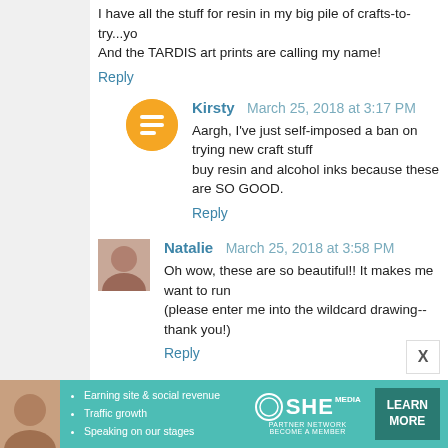I have all the stuff for resin in my big pile of crafts-to-try...yo And the TARDIS art prints are calling my name!
Reply
Kirsty  March 25, 2018 at 3:17 PM
Aargh, I've just self-imposed a ban on trying new craft stuff but I may have to buy resin and alcohol inks because these are SO GOOD.
Reply
Natalie  March 25, 2018 at 3:58 PM
Oh wow, these are so beautiful!! It makes me want to run out and buy some (please enter me into the wildcard drawing--thank you!)
Reply
Anonymous  March 25, 2018 at 4:09 PM
Count me in please! and for the Harley Quinn. Di from Cast
Reply
[Figure (infographic): SHE Partner Network advertisement banner with teal background, bullet points about earning site & social revenue, traffic growth, speaking on stages, SHE logo, and LEARN MORE button]